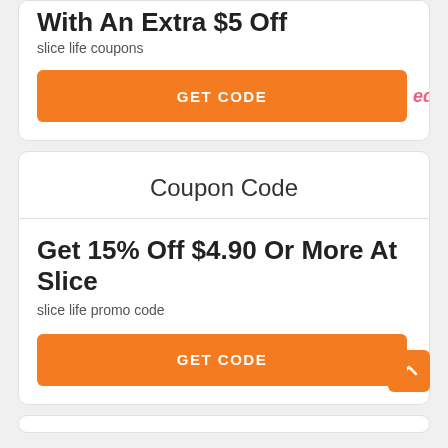With An Extra $5 Off
slice life coupons
GET CODE
Coupon Code
Get 15% Off $4.90 Or More At Slice
slice life promo code
GET CODE